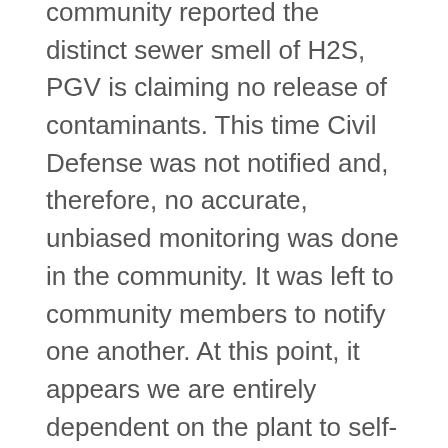community reported the distinct sewer smell of H2S, PGV is claiming no release of contaminants. This time Civil Defense was not notified and, therefore, no accurate, unbiased monitoring was done in the community. It was left to community members to notify one another. At this point, it appears we are entirely dependent on the plant to self-report. We shouldn't have to explain to you how this is a conflict of interests.
HAWAII'S FUTURE
Reportedly, 20 new geothermal companies are waiting to break ground in Puna, and UH Hilo's